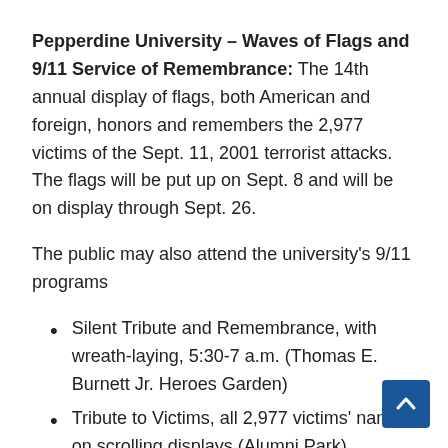Pepperdine University – Waves of Flags and 9/11 Service of Remembrance: The 14th annual display of flags, both American and foreign, honors and remembers the 2,977 victims of the Sept. 11, 2001 terrorist attacks. The flags will be put up on Sept. 8 and will be on display through Sept. 26.
The public may also attend the university's 9/11 programs
Silent Tribute and Remembrance, with wreath-laying, 5:30-7 a.m. (Thomas E. Burnett Jr. Heroes Garden)
Tribute to Victims, all 2,977 victims' names on scrolling displays (Alumni Park)
Chaplain's Prayer Service, 9 a.m. (Amphitheatr
Honoring the Heroes of 9/11, a ceremony with